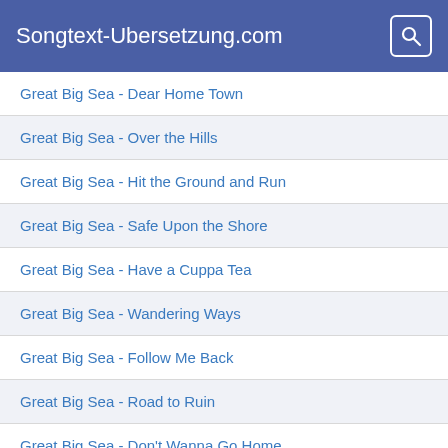Songtext-Ubersetzung.com
Great Big Sea - Dear Home Town
Great Big Sea - Over the Hills
Great Big Sea - Hit the Ground and Run
Great Big Sea - Safe Upon the Shore
Great Big Sea - Have a Cuppa Tea
Great Big Sea - Wandering Ways
Great Big Sea - Follow Me Back
Great Big Sea - Road to Ruin
Great Big Sea - Don't Wanna Go Home
Gölä - Keini Träne meh
Gölä - Wie dr Wind